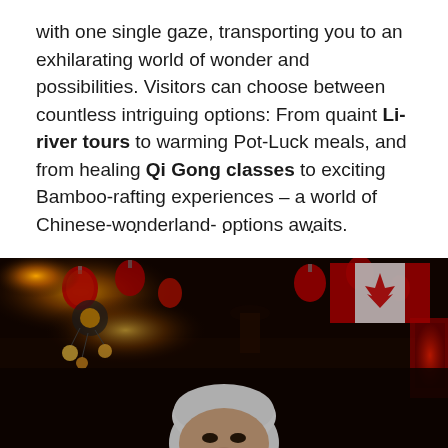with one single gaze, transporting you to an exhilarating world of wonder and possibilities. Visitors can choose between countless intriguing options: From quaint Li-river tours to warming Pot-Luck meals, and from healing Qi Gong classes to exciting Bamboo-rafting experiences – a world of Chinese-wonderland- options awaits.
· · ·
[Figure (photo): Dark interior of a Chinese restaurant or market decorated with red lanterns, hanging lights, a Canadian flag visible in the upper right, and other colorful decorations. A person wearing a white beanie hat is visible in the lower portion of the image.]